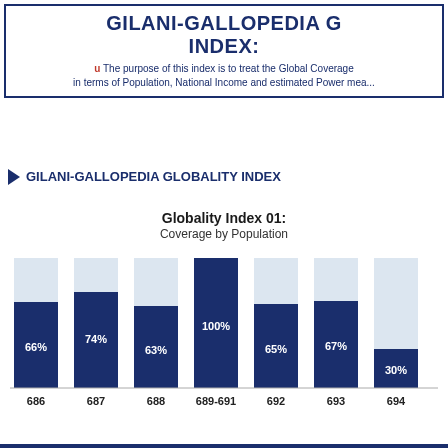GILANI-GALLOPEDIA GLOBALITY INDEX:
u The purpose of this index is to treat the Global Coverage in terms of Population, National Income and estimated Power mea...
GILANI-GALLOPEDIA GLOBALITY INDEX
Globality Index 01: Coverage by Population
[Figure (bar-chart): Globality Index 01: Coverage by Population]